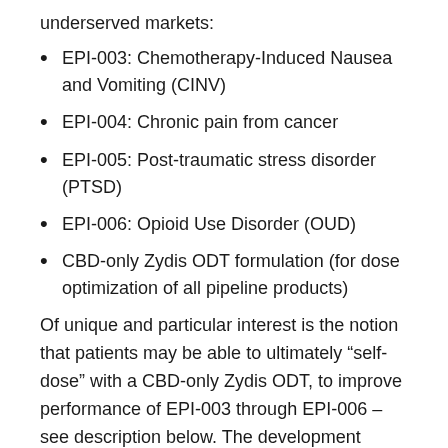underserved markets:
EPI-003: Chemotherapy-Induced Nausea and Vomiting (CINV)
EPI-004: Chronic pain from cancer
EPI-005: Post-traumatic stress disorder (PTSD)
EPI-006: Opioid Use Disorder (OUD)
CBD-only Zydis ODT formulation (for dose optimization of all pipeline products)
Of unique and particular interest is the notion that patients may be able to ultimately “self-dose” with a CBD-only Zydis ODT, to improve performance of EPI-003 through EPI-006 – see description below. The development timeline, including initial regulatory pathway, is outlined in the table immediately below. The products in this table are referred to as “First…